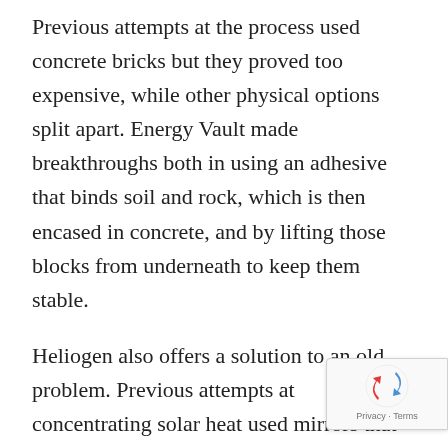Previous attempts at the process used concrete bricks but they proved too expensive, while other physical options split apart. Energy Vault made breakthroughs both in using an adhesive that binds soil and rock, which is then encased in concrete, and by lifting those blocks from underneath to keep them stable.
Heliogen also offers a solution to an old problem. Previous attempts at concentrating solar heat used mirrors that were too large and acted like sails in the wind, misdirecting the sunlight they were meant to focus. Heliogen uses smaller mirrors, which catch less wind, and software that corrects for gusts at 20...